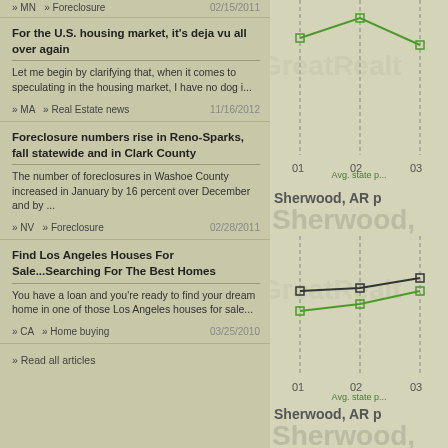optio...
» MN  » Foreclosure    02/15/2011
For the U.S. housing market, it's deja vu all over again
Let me begin by clarifying that, when it comes to speculating in the housing market, I have no dog i...
» MA  » Real Estate news    11/16/2012
Foreclosure numbers rise in Reno-Sparks, fall statewide and in Clark County
The number of foreclosures in Washoe County increased in January by 16 percent over December and by ...
» NV  » Foreclosure    02/28/2011
Find Los Angeles Houses For Sale...Searching For The Best Homes
You have a loan and you're ready to find your dream home in one of those Los Angeles houses for sale...
» CA  » Home buying    03/25/2010
» Read all articles
[Figure (line-chart): Sherwood AR price chart with avg state price line, showing data points at 01, 02, 03 on x-axis. Two lines: black and green.]
Avg. state p...
[Figure (line-chart): Sherwood AR price chart with avg state price line, second instance, showing data points at 01, 02, 03 on x-axis.]
Avg. state p...